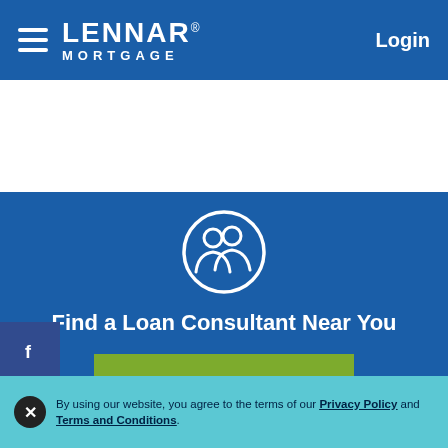Lennar Mortgage — Login
[Figure (illustration): White people/consultant group icon inside a circle on blue background]
Find a Loan Consultant Near You
SEARCH NOW
[Figure (other): Social share sidebar with Facebook, Twitter, Email, SMS, Messenger, Share buttons]
By using our website, you agree to the terms of our Privacy Policy and Terms and Conditions.